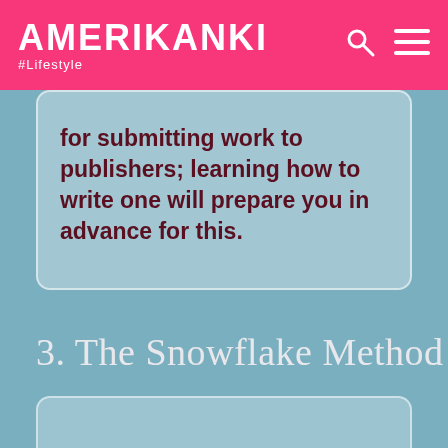AMERIKANKI #Lifestyle
for submitting work to publishers; learning how to write one will prepare you in advance for this.
3. The Snowflake Method
Invented by writer Randy Ingermanson, this suits writers who like to start small and expand. First write a